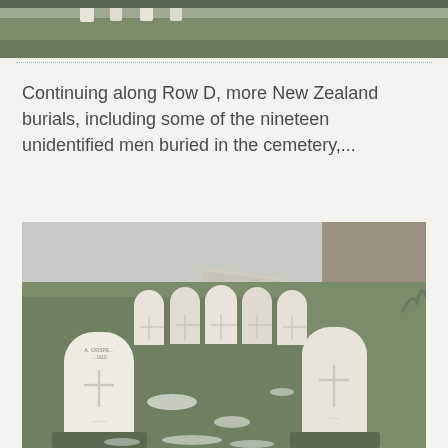[Figure (photo): Top portion of a cemetery photo showing green grass and gravestones partially visible at the top edge]
Continuing along Row D, more New Zealand burials, including some of the nineteen unidentified men buried in the cemetery,...
[Figure (photo): Seven white Commonwealth War Graves Commission headstones arranged in a curved row on a grass lawn with light snow dusting. Two larger headstones in the foreground, five smaller ones behind. A stone wall and path visible in background.]